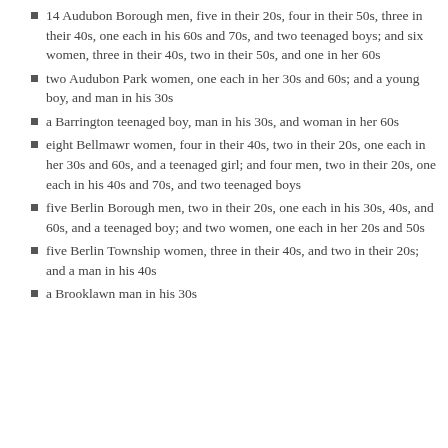14 Audubon Borough men, five in their 20s, four in their 50s, three in their 40s, one each in his 60s and 70s, and two teenaged boys; and six women, three in their 40s, two in their 50s, and one in her 60s
two Audubon Park women, one each in her 30s and 60s; and a young boy, and man in his 30s
a Barrington teenaged boy, man in his 30s, and woman in her 60s
eight Bellmawr women, four in their 40s, two in their 20s, one each in her 30s and 60s, and a teenaged girl; and four men, two in their 20s, one each in his 40s and 70s, and two teenaged boys
five Berlin Borough men, two in their 20s, one each in his 30s, 40s, and 60s, and a teenaged boy; and two women, one each in her 20s and 50s
five Berlin Township women, three in their 40s, and two in their 20s; and a man in his 40s
a Brooklawn man in his 30s